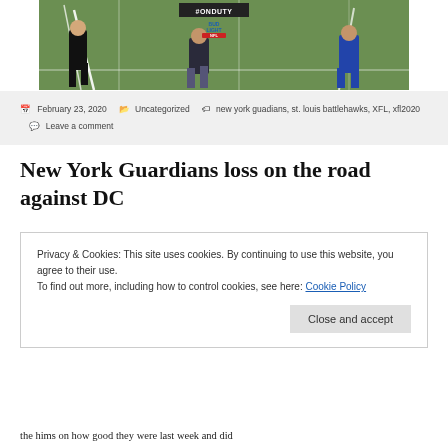[Figure (photo): Sports action photo on a football field showing players running/officiating. #ONDUTY badge and Bud Light branding visible. Green field background with yard lines.]
February 23, 2020   Uncategorized   new york guadians, st. louis battlehawks, XFL, xfl2020   Leave a comment
New York Guardians loss on the road against DC
Privacy & Cookies: This site uses cookies. By continuing to use this website, you agree to their use.
To find out more, including how to control cookies, see here: Cookie Policy
Close and accept
the hims on how good they were last week and did